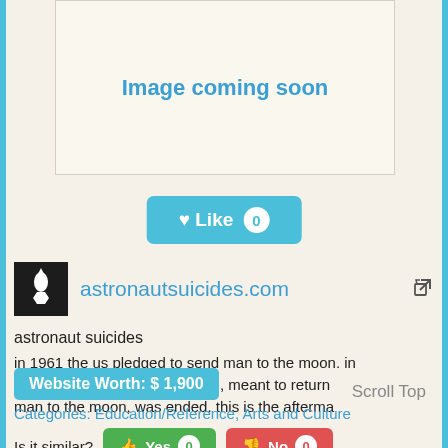[Figure (other): Image coming soon placeholder box with teal/blue border]
♥ Like 0
[Figure (logo): Rocket/astronaut icon in black square - astronautsuicides.com logo]
astronautsuicides.com ↗
astronaut suicides
in 1961 the us pledged to send man to the moon. in 2010 the constellation program, meant to return man to the moon, was ended. this is the afterma
Scroll Top
Website Worth: $ 1,900
Categories: Education/Reference, Arts and Culture
Is it similar? 👍 Yes 0  👎 No 0